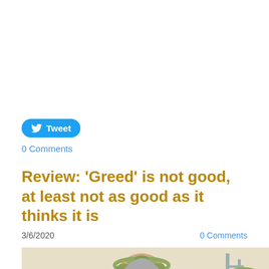[Figure (other): Tweet button (blue rounded pill with Twitter bird icon and 'Tweet' text)]
0 Comments
Review: 'Greed' is not good, at least not as good as it thinks it is
3/6/2020    0 Comments
[Figure (photo): A man wearing a laurel wreath crown smiling, surrounded by other people, outdoor setting with construction structure in background]